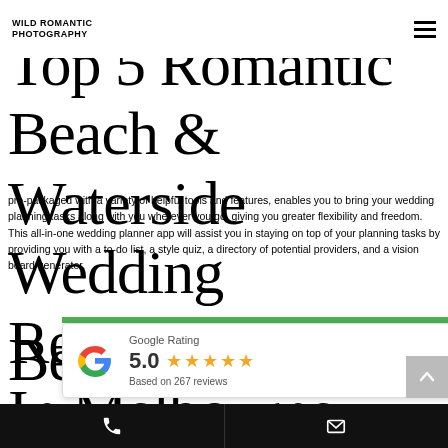WILD ROMANTIC PHOTOGRAPHY
Top 5 Romantic Beach & Waterside Wedding Reception Venues In Melbourne,
pre-packaged with a variety of helpful tools and features, enables you to bring your wedding planning tasks along with you wherever you go, giving you greater flexibility and freedom. This all-in-one wedding planner app will assist you in staying on top of your planning tasks by providing you with a to-do list, a style quiz, a directory of potential providers, and a vision board generator.
[Figure (infographic): Google Rating widget showing 5.0 stars based on 267 reviews, with Google G logo and green bar at top]
Waterside Wedding
Phone and email contact buttons